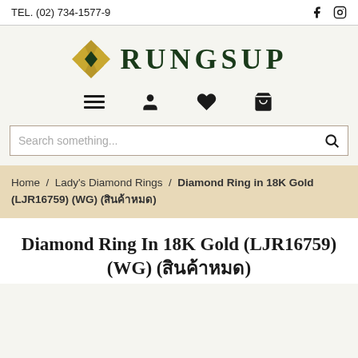TEL. (02) 734-1577-9
[Figure (logo): Rungsup jewelry store logo with gold diamond shape icon and dark green bold serif text RUNGSUP]
[Figure (infographic): Navigation icon bar with hamburger menu, user/person icon, heart/wishlist icon, and shopping cart icon]
Search something...
Home / Lady's Diamond Rings / Diamond Ring in 18K Gold (LJR16759) (WG) (สินค้าหมด)
Diamond Ring In 18K Gold (LJR16759) (WG) (สินค้าหมด)